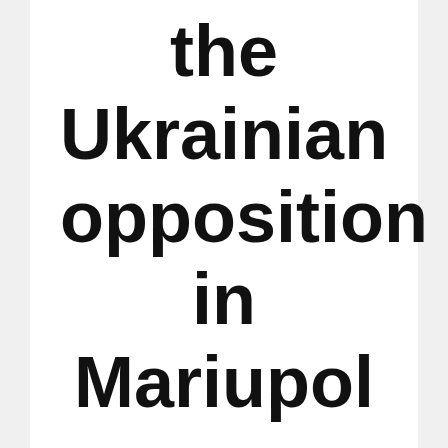the Ukrainian opposition in Mariupol
Calvert Jenkins · 3 months ago · 2 min read